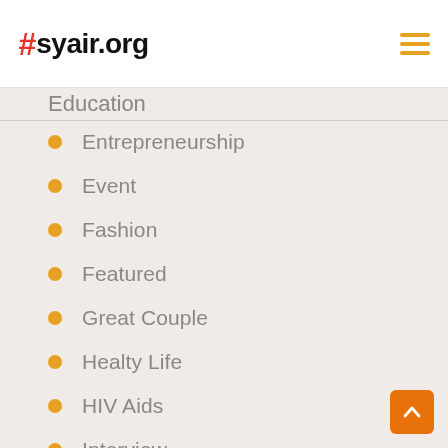#syair.org
Education
Entrepreneurship
Event
Fashion
Featured
Great Couple
Healty Life
HIV Aids
Interview
Lifestyle